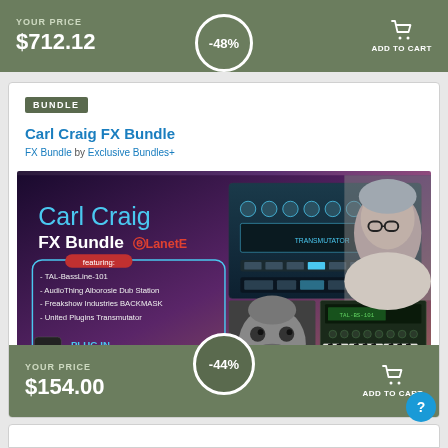YOUR PRICE $712.12 -48% ADD TO CART
BUNDLE
Carl Craig FX Bundle
FX Bundle by Exclusive Bundles+
[Figure (photo): Carl Craig FX Bundle promotional banner showing plugin interfaces and Carl Craig portrait, featuring TAL-BassLine-101, AudioThing Alborosie Dub Station, Freakshow Industries BACKMASK, United Plugins Transmutator, Plugin Boutique logo]
YOUR PRICE $154.00 -44% ADD TO CART